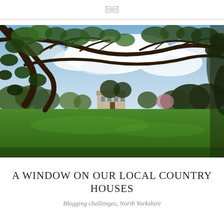[Figure (photo): A country house set in a wide green lawn, framed by overhanging tree branches in the foreground. Cloudy sky with patches of blue. Trees and shrubbery surround the stone manor house in the middle distance. North Yorkshire, England.]
A WINDOW ON OUR LOCAL COUNTRY HOUSES
Blogging challenges, North Yorkshire